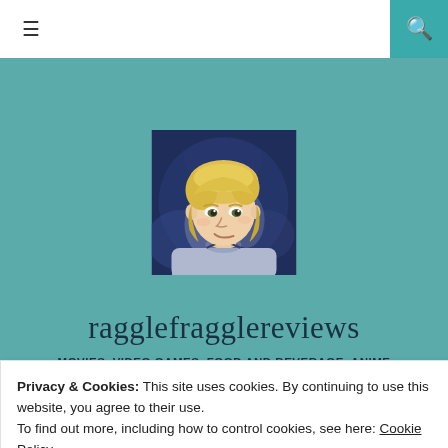≡  [search icon]
[Figure (illustration): Illustrated avatar of a blonde young man wearing a light purple t-shirt, on a dark blue background, in a comic/manga art style.]
ragglefragglereviews
MOVIES, VIDEO GAMES, FOOD AND BEVERAGE, ANIME
Privacy & Cookies: This site uses cookies. By continuing to use this website, you agree to their use.
To find out more, including how to control cookies, see here: Cookie Policy
Close and accept